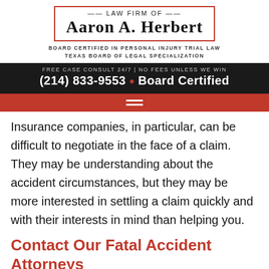[Figure (logo): Law Firm of Aaron A. Herbert logo with red border box, tagline about board certification]
FREE CASE CONSULT 24/7 | NO FEES UNLESS WE WIN
(214) 833-9553 • Board Certified
[Figure (other): Red navigation bar with hamburger menu icon]
Insurance companies, in particular, can be difficult to negotiate in the face of a claim. They may be understanding about the accident circumstances, but they may be more interested in settling a claim quickly and with their interests in mind than helping you.
Contact Our Fatal Accident Attorneys